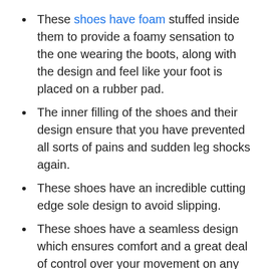These shoes have foam stuffed inside them to provide a foamy sensation to the one wearing the boots, along with the design and feel like your foot is placed on a rubber pad.
The inner filling of the shoes and their design ensure that you have prevented all sorts of pains and sudden leg shocks again.
These shoes have an incredible cutting edge sole design to avoid slipping.
These shoes have a seamless design which ensures comfort and a great deal of control over your movement on any surface.
These shoes have a wonderful glide end pattern that lets you move quickly and safely whenever needed.
These shoes are so classy that you won't have to go through a second thought before wearing them